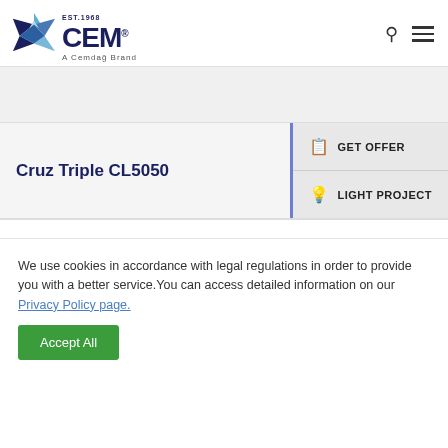[Figure (logo): CEM brand logo with star graphic, EST. 1968, A Cemdağ Brand tagline]
Cruz Triple CL5050
GET OFFER
LIGHT PROJECT
We use cookies in accordance with legal regulations in order to provide you with a better service.You can access detailed information on our Privacy Policy page.
Accept All